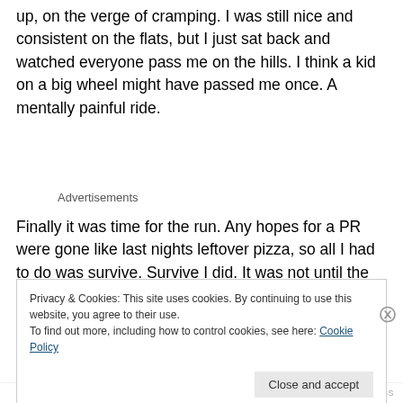up, on the verge of cramping.  I was still nice and consistent on the flats, but I just sat back and watched everyone pass me on the hills.  I think a kid on a big wheel might have passed me once.  A mentally painful ride.
Advertisements
Finally it was time for the run.  Any hopes for a PR were gone like last nights leftover pizza, so all I had to do was survive.  Survive I did.  It was not until the finishing chute
Privacy & Cookies: This site uses cookies. By continuing to use this website, you agree to their use.
To find out more, including how to control cookies, see here: Cookie Policy
Close and accept